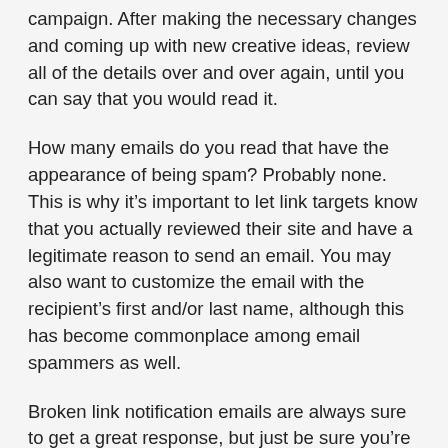campaign. After making the necessary changes and coming up with new creative ideas, review all of the details over and over again, until you can say that you would read it.
How many emails do you read that have the appearance of being spam? Probably none. This is why it's important to let link targets know that you actually reviewed their site and have a legitimate reason to send an email. You may also want to customize the email with the recipient's first and/or last name, although this has become commonplace among email spammers as well.
Broken link notification emails are always sure to get a great response, but just be sure you're not taking the wrong tone with the webmaster and reinforce the fact that your offer is mutually beneficial.
As long as you always try to put yourself in the shoes of your potential link targets, you won't go wrong. Make